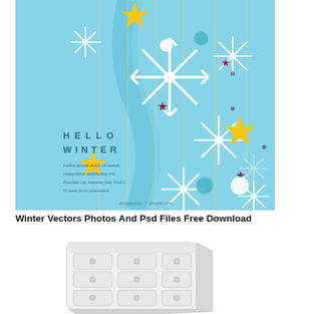[Figure (illustration): Winter-themed illustration on a light blue background with hanging snowflakes, gold stars, teal circles, and dark red star decorations on vertical strings. Text reads 'HELLO WINTER' with Lorem Ipsum placeholder text below. Bottom reads 'designed by freepik.com'.]
Winter Vectors Photos And Psd Files Free Download
[Figure (illustration): White dresser / chest of drawers with rounded edges, shown in 3D perspective. Three rows of drawers with circular knobs, rendered in white with slight gray shadow.]